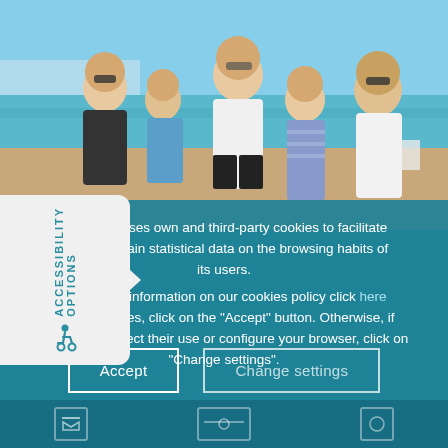[Figure (photo): Group of five people (family) posing together on a beach with blue sky and sea in the background.]
This website uses own and third-party cookies to facilitate browsing and obtain statistical data on the browsing habits of its users.
To obtain more information on our cookies policy click here
To allow all cookies, click on the "Accept" button. Otherwise, if you wish to reject their use or configure your browser, click on "Change settings".
Accept
Change settings
ACCESSIBILITY OPTIONS